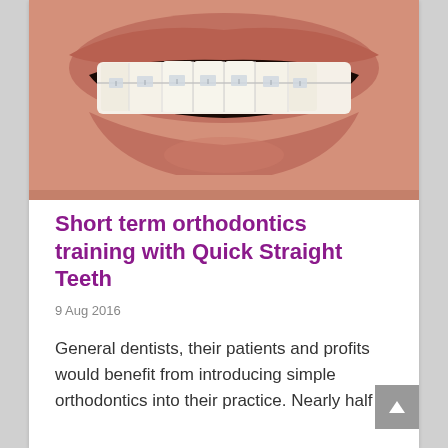[Figure (photo): Close-up photo of a person smiling showing teeth with clear/ceramic dental braces on upper teeth, visible lips]
Short term orthodontics training with Quick Straight Teeth
9 Aug 2016
General dentists, their patients and profits would benefit from introducing simple orthodontics into their practice. Nearly half of